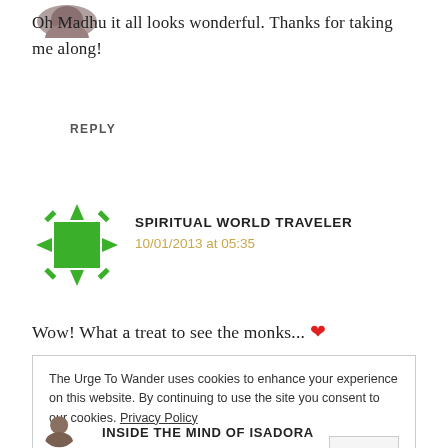[Figure (photo): Partial circular avatar photo at top left, cropped at top of page]
Oh Madhu it all looks wonderful. Thanks for taking me along!
REPLY
[Figure (logo): Spiritual World Traveler avatar icon: green compass/star shape on white background]
SPIRITUAL WORLD TRAVELER
10/01/2013 at 05:35
Wow! What a treat to see the monks... ❤
The Urge To Wander uses cookies to enhance your experience on this website. By continuing to use the site you consent to our cookies. Privacy Policy
OK
[Figure (photo): Circular avatar photo at bottom left, partial]
INSIDE THE MIND OF ISADORA